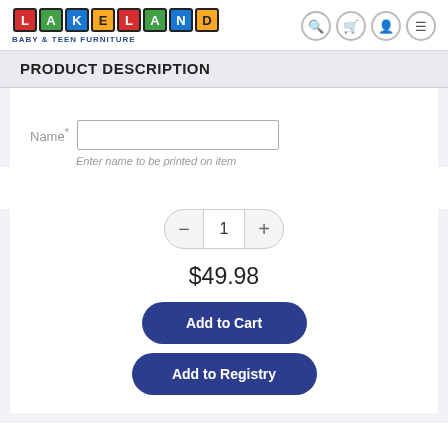[Figure (logo): Lakeland Baby & Teen Furniture logo with colorful block letters spelling LAKELAND and subtitle text]
PRODUCT DESCRIPTION
Name*
Enter name to be printed on item
1
$49.98
Add to Cart
Add to Registry